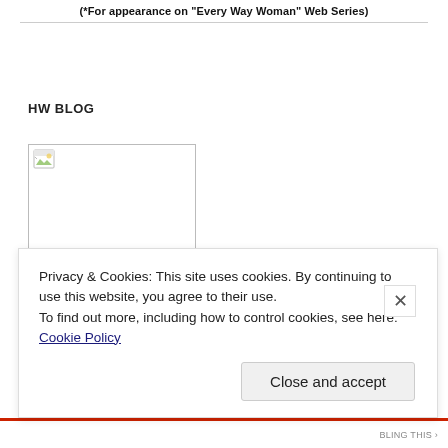(*For appearance on "Every Way Woman" Web Series)
HW BLOG
[Figure (illustration): Broken image placeholder box — a small broken image icon in the top-left corner of a white bordered rectangle]
Privacy & Cookies: This site uses cookies. By continuing to use this website, you agree to their use.
To find out more, including how to control cookies, see here: Cookie Policy
Close and accept